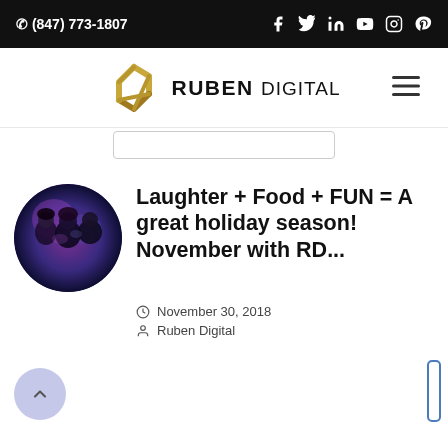☎ (847) 773-1807 [Facebook] [Twitter] [LinkedIn] [YouTube] [Instagram] [Pinterest]
[Figure (logo): Ruben Digital logo with gold hexagon shape and hamburger menu icon]
[Figure (photo): Circular thumbnail photo of group of people at a holiday event with purple/blue lighting]
Laughter + Food + FUN = A great holiday season! November with RD...
November 30, 2018
Ruben Digital